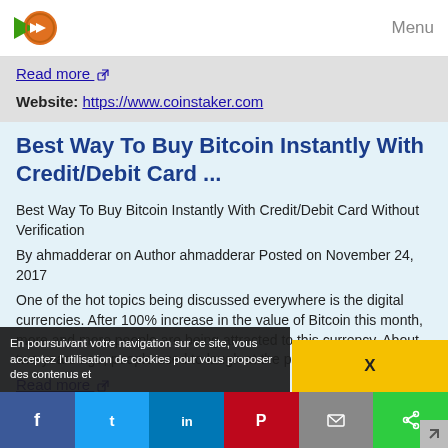Menu
Read more
Website: https://www.coinstaker.com
Best Way To Buy Bitcoin Instantly With Credit/Debit Card ...
Best Way To Buy Bitcoin Instantly With Credit/Debit Card Without Verification
By ahmadderar on Author ahmadderar Posted on November 24, 2017
One of the hot topics being discussed everywhere is the digital currencies. After 100% increase in the value of Bitcoin this month, more and more people are being attracted to this currency. About two years ago, people used to laugh at the person who wanted...
Read more
En poursuivant votre navigation sur ce site, vous acceptez l'utilisation de cookies pour vous proposer des contenus et...
X